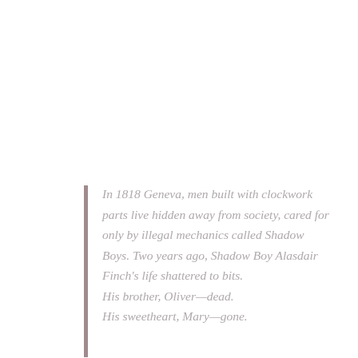In 1818 Geneva, men built with clockwork parts live hidden away from society, cared for only by illegal mechanics called Shadow Boys. Two years ago, Shadow Boy Alasdair Finch's life shattered to bits.

His brother, Oliver—dead.

His sweetheart, Mary—gone.